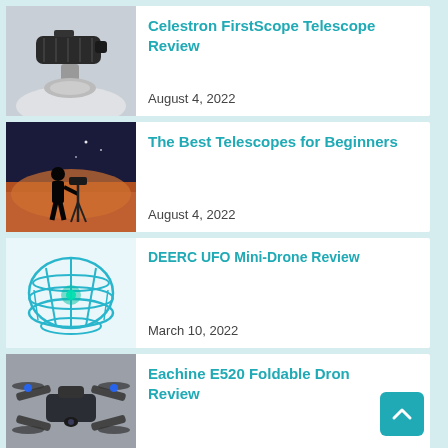[Figure (photo): Celestron FirstScope telescope on white background]
Celestron FirstScope Telescope Review
August 4, 2022
[Figure (photo): Silhouette of person with telescope at sunset]
The Best Telescopes for Beginners
August 4, 2022
[Figure (photo): DEERC UFO Mini-Drone with teal cage frame]
DEERC UFO Mini-Drone Review
March 10, 2022
[Figure (photo): Eachine E520 foldable drone with blue LED lights]
Eachine E520 Foldable Drone Review